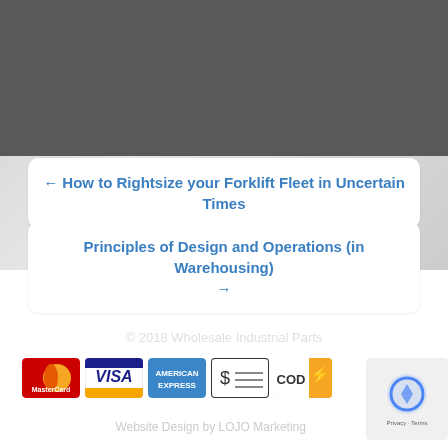(Source: Marketplace.org)
This entry was posted in News. Bookmark the permalink.
← How to Rightsize your Forklift Fleet in Uncertain Times
Principles of Design and Operations (in Warehousing) →
© 2018 Wholesale Industrial Parts
Privacy Policy   Website Design by LOJO Marketing